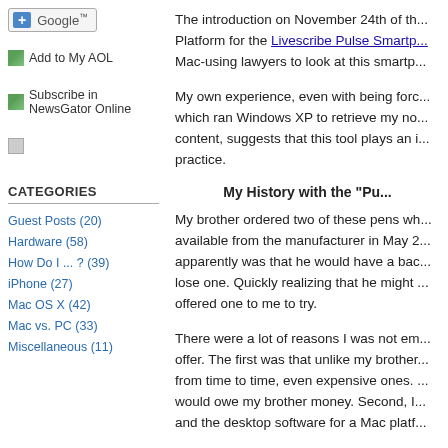[Figure (logo): Google+ subscribe button with blue plus sign]
Add to My AOL
Subscribe in NewsGator Online
CATEGORIES
Guest Posts (20)
Hardware (58)
How Do I ... ? (39)
iPhone (27)
Mac OS X (42)
Mac vs. PC (33)
Miscellaneous (11)
The introduction on November 24th of th... Platform for the Livescribe Pulse Smartp... Mac-using lawyers to look at this smartp...
My own experience, even with being forc... which ran Windows XP to retrieve my no... content, suggests that this tool plays an i... practice.
My History with the "Pu
My brother ordered two of these pens wh... available from the manufacturer in May 2... apparently was that he would have a bac... lose one. Quickly realizing that he might ... offered one to me to try.
There were a lot of reasons I was not em... offer. The first was that unlike my brother... from time to time, even expensive ones. ... would owe my brother money. Second, I... and the desktop software for a Mac platf...